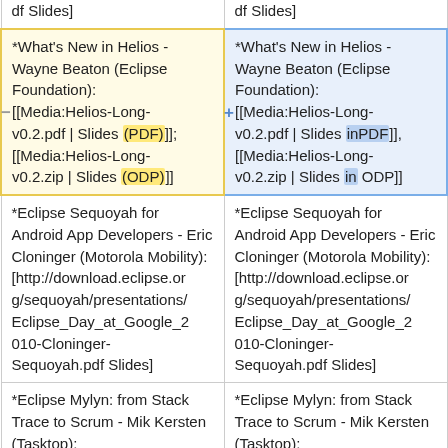| df Slides] | df Slides] |
| *What's New in Helios - Wayne Beaton (Eclipse Foundation): [[Media:Helios-Long-v0.2.pdf | Slides (PDF)]]; [[Media:Helios-Long-v0.2.zip | Slides (ODP)]] | *What's New in Helios - Wayne Beaton (Eclipse Foundation): [[Media:Helios-Long-v0.2.pdf | Slides inPDF]], [[Media:Helios-Long-v0.2.zip | Slides in ODP]] |
| *Eclipse Sequoyah for Android App Developers - Eric Cloninger (Motorola Mobility): [http://download.eclipse.org/sequoyah/presentations/Eclipse_Day_at_Google_2010-Cloninger-Sequoyah.pdf Slides] | *Eclipse Sequoyah for Android App Developers - Eric Cloninger (Motorola Mobility): [http://download.eclipse.org/sequoyah/presentations/Eclipse_Day_at_Google_2010-Cloninger-Sequoyah.pdf Slides] |
| *Eclipse Mylyn: from Stack Trace to Scrum - Mik Kersten (Tasktop): [http://wiki.eclipse.org/ima | *Eclipse Mylyn: from Stack Trace to Scrum - Mik Kersten (Tasktop): [http://wiki.eclipse.org/ima |